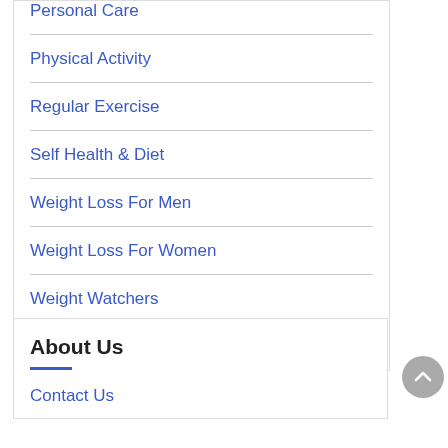Personal Care
Physical Activity
Regular Exercise
Self Health & Diet
Weight Loss For Men
Weight Loss For Women
Weight Watchers
Workouts
About Us
Contact Us